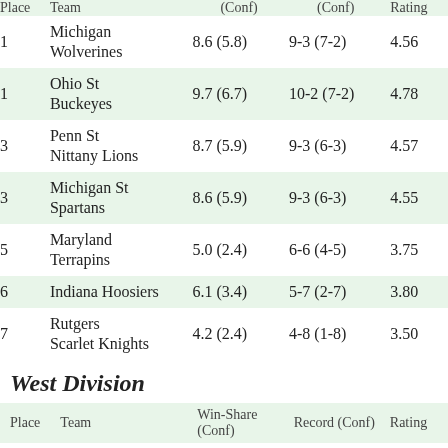| Place | Team | Win-Share (Conf) | Record (Conf) | Rating |
| --- | --- | --- | --- | --- |
| 1 | Michigan Wolverines | 8.6 (5.8) | 9-3 (7-2) | 4.56 |
| 1 | Ohio St Buckeyes | 9.7 (6.7) | 10-2 (7-2) | 4.78 |
| 3 | Penn St Nittany Lions | 8.7 (5.9) | 9-3 (6-3) | 4.57 |
| 3 | Michigan St Spartans | 8.6 (5.9) | 9-3 (6-3) | 4.55 |
| 5 | Maryland Terrapins | 5.0 (2.4) | 6-6 (4-5) | 3.75 |
| 6 | Indiana Hoosiers | 6.1 (3.4) | 5-7 (2-7) | 3.80 |
| 7 | Rutgers Scarlet Knights | 4.2 (2.4) | 4-8 (1-8) | 3.50 |
West Division
| Place | Team | Win-Share (Conf) | Record (Conf) | Rating |
| --- | --- | --- | --- | --- |